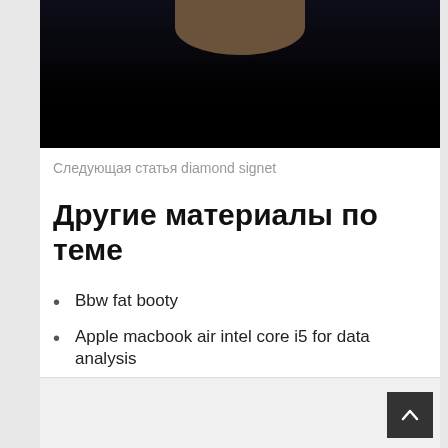[Figure (photo): Cropped photo of a person against a dark background, partially visible face at top]
Следующая статья diamond signet
Другие материалы по теме
Bbw fat booty
Apple macbook air intel core i5 for data analysis
C204 chipset
External gpu lenovo thinkpad t430
Miyagi feat andy panda
Faek